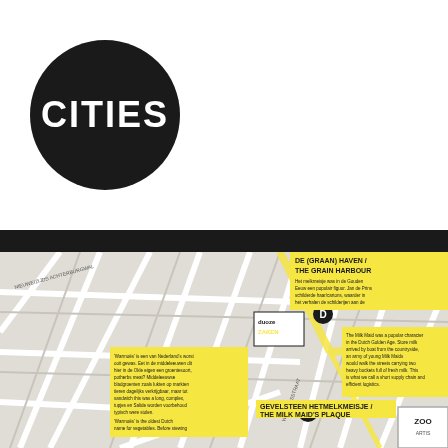[Figure (logo): CITIES logo — white bold text 'CITIES' on a large black circle]
[Figure (map): Food Tour map of a city area showing streets, points of interest including 'De (Graan) Haven / The Grain Harbour' and 'Gevelsteen Hetmelkmeisje / The Milk Maid's Plaque', yellow highlighted boxes with text, location markers D and E, a Duoze Zaken logo badge, and a zoo badge in the lower right corner. The map title reads 'FOOD TOUR'.]